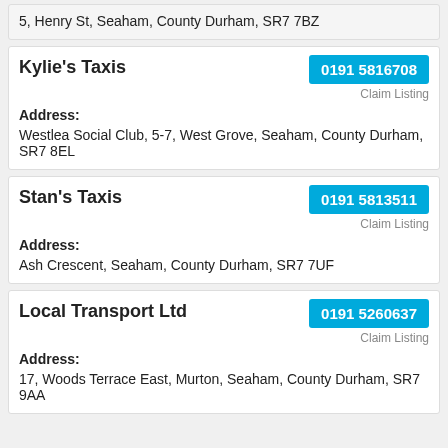5, Henry St, Seaham, County Durham, SR7 7BZ
Kylie's Taxis
0191 5816708
Claim Listing
Address:
Westlea Social Club, 5-7, West Grove, Seaham, County Durham, SR7 8EL
Stan's Taxis
0191 5813511
Claim Listing
Address:
Ash Crescent, Seaham, County Durham, SR7 7UF
Local Transport Ltd
0191 5260637
Claim Listing
Address:
17, Woods Terrace East, Murton, Seaham, County Durham, SR7 9AA